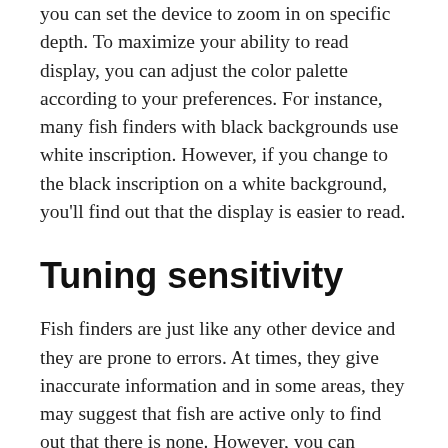you can set the device to zoom in on specific depth. To maximize your ability to read display, you can adjust the color palette according to your preferences. For instance, many fish finders with black backgrounds use white inscription. However, if you change to the black inscription on a white background, you'll find out that the display is easier to read.
Tuning sensitivity
Fish finders are just like any other device and they are prone to errors. At times, they give inaccurate information and in some areas, they may suggest that fish are active only to find out that there is none. However, you can correct these inaccuracies by peaking the transducer where you adjust the